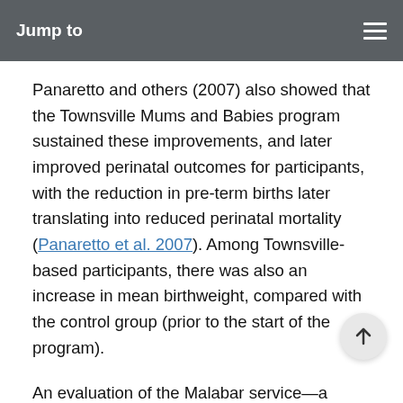Jump to
Panaretto and others (2007) also showed that the Townsville Mums and Babies program sustained these improvements, and later improved perinatal outcomes for participants, with the reduction in pre-term births later translating into reduced perinatal mortality (Panaretto et al. 2007). Among Townsville-based participants, there was also an increase in mean birthweight, compared with the control group (prior to the start of the program).
An evaluation of the Malabar service—a community-based culturally appropriate service that addressed the antenatal care needs of Indigenous mothers—found that the continuity of care was the most valued aspect of the service. The midwives and Indigenous health